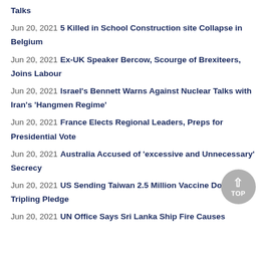Talks
Jun 20, 2021 5 Killed in School Construction site Collapse in Belgium
Jun 20, 2021 Ex-UK Speaker Bercow, Scourge of Brexiteers, Joins Labour
Jun 20, 2021 Israel's Bennett Warns Against Nuclear Talks with Iran's 'Hangmen Regime'
Jun 20, 2021 France Elects Regional Leaders, Preps for Presidential Vote
Jun 20, 2021 Australia Accused of 'excessive and Unnecessary' Secrecy
Jun 20, 2021 US Sending Taiwan 2.5 Million Vaccine Doses, Tripling Pledge
Jun 20, 2021 UN Office Says Sri Lanka Ship Fire Causes